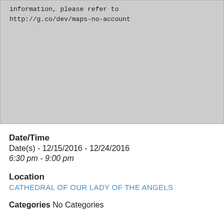[Figure (screenshot): Gray placeholder map area with monospace text showing 'information, please refer to http://g.co/dev/maps-no-account']
Date/Time
Date(s) - 12/15/2016 - 12/24/2016
6:30 pm - 9:00 pm
Location
CATHEDRAL OF OUR LADY OF THE ANGELS
Categories No Categories